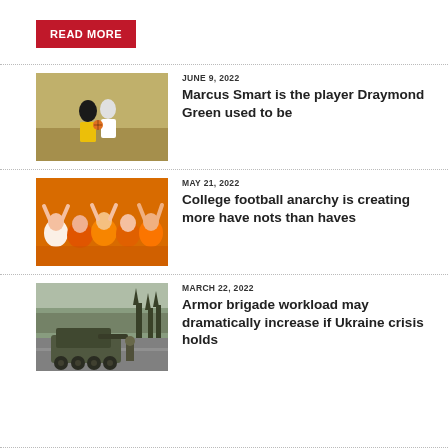READ MORE
[Figure (photo): Basketball player dribbling on court during game]
JUNE 9, 2022
Marcus Smart is the player Draymond Green used to be
[Figure (photo): Crowd of fans wearing orange shirts cheering at a sports event]
MAY 21, 2022
College football anarchy is creating more have nots than haves
[Figure (photo): Military armored vehicle on road near trees]
MARCH 22, 2022
Armor brigade workload may dramatically increase if Ukraine crisis holds